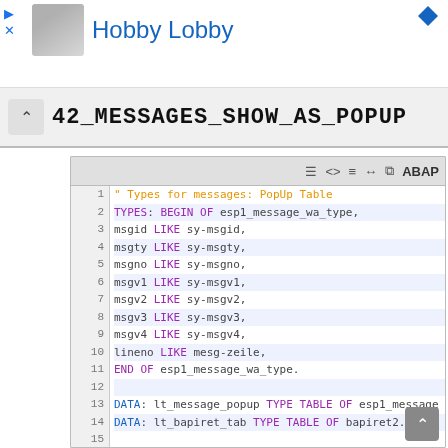Hobby Lobby
42_MESSAGES_SHOW_AS_POPUP
[Figure (screenshot): ABAP code editor panel showing type definitions and data declarations for message popup handling. Lines 1-23 of ABAP code including TYPES, DATA, FIELD-SYMBOLS declarations and a LOOP statement.]